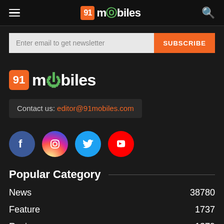[Figure (logo): 91mobiles website header with hamburger menu, logo and search icon]
Enter email to get newsletter
SUBSCRIBE
[Figure (logo): 91mobiles footer logo]
Contact us: editor@91mobiles.com
[Figure (illustration): Social media icons: Facebook, Instagram, Twitter, YouTube]
Popular Category
News  38780
Feature  1737
Reviews  1379